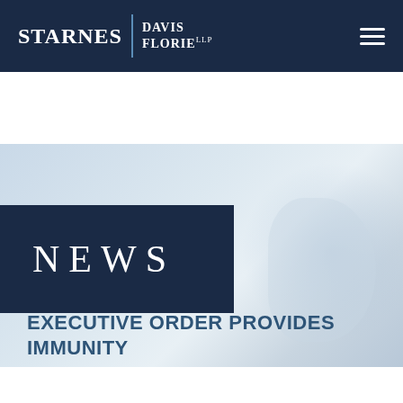[Figure (logo): Starnes Davis Florie LLP law firm logo with white text on dark navy navigation bar]
[Figure (illustration): Light blue gradient hero banner with dark navy 'NEWS' label box on the left side]
EXECUTIVE ORDER PROVIDES IMMUNITY